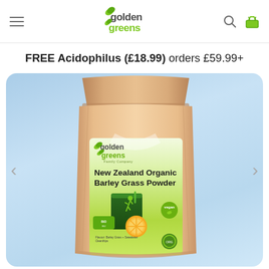Golden Greens — navigation header with logo, hamburger menu, search and basket icons
FREE Acidophilus (£18.99) orders £59.99+
[Figure (photo): Golden Greens New Zealand Organic Barley Grass Powder product in a kraft bag with green label showing the Golden Greens logo, a green smoothie glass, an orange slice, bio and vegan badges, on a light blue gradient background with left and right carousel navigation arrows.]